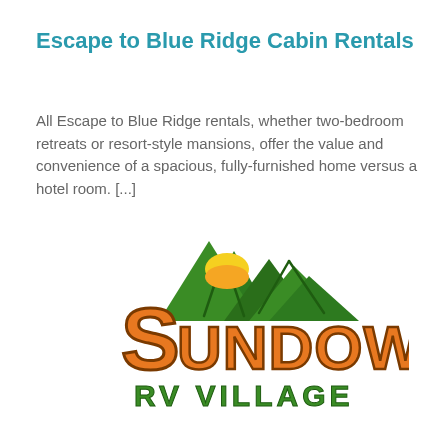Escape to Blue Ridge Cabin Rentals
All Escape to Blue Ridge rentals, whether two-bedroom retreats or resort-style mansions, offer the value and convenience of a spacious, fully-furnished home versus a hotel room. [...]
[Figure (logo): Sundowner RV Village logo featuring orange stylized text 'Sundowner' with a green mountain silhouette and yellow/orange sunrise behind it, and 'RV Village' in green text below]